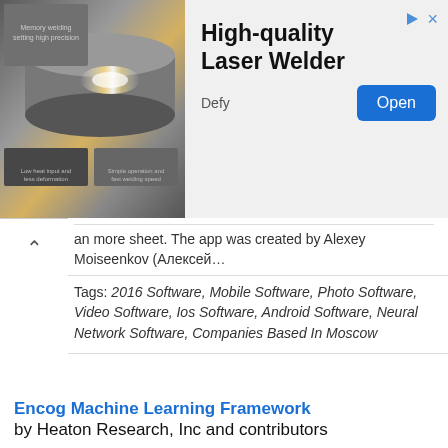[Figure (screenshot): Advertisement banner for 'High-quality Laser Welder' by Defy, with product images on the left, large bold title text, and a blue 'Open' button.]
… an more sheet. The app was created by Alexey Moiseenkov (Алексей…
Tags: 2016 Software, Mobile Software, Photo Software, Video Software, Ios Software, Android Software, Neural Network Software, Companies Based In Moscow
Encog Machine Learning Framework by Heaton Research, Inc and contributors
Crossplatform
Encog is a machine learning framework available for Java and .Net. Encog supports different learning algorithms such as Bayesian Networks, Hidden Markov Models and from more…